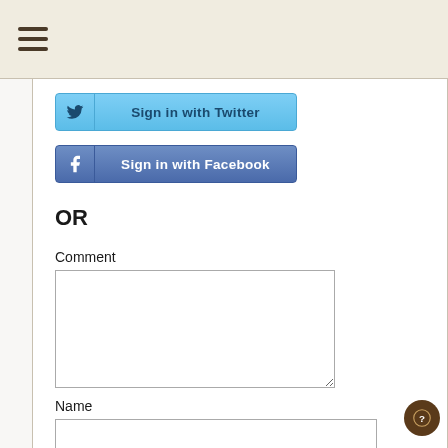[Figure (other): Hamburger menu icon (three horizontal lines)]
[Figure (other): Sign in with Twitter button with Twitter bird icon]
[Figure (other): Sign in with Facebook button with Facebook 'f' icon]
OR
Comment
[Figure (other): Comment textarea input field]
Name
[Figure (other): Name text input field]
Email
[Figure (other): Email text input field with 'Not published' placeholder text]
Website